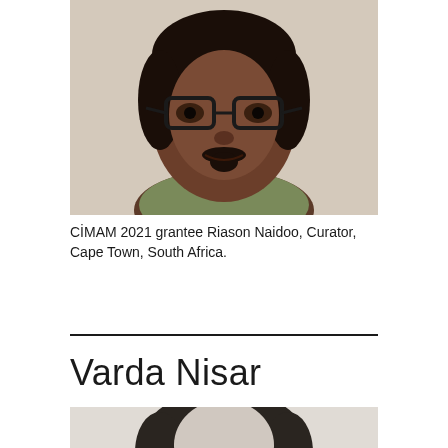[Figure (photo): Close-up portrait photograph of a man wearing glasses and a light green/olive shirt, with dark skin and a goatee/mustache, smiling slightly against a light background.]
CİMAM 2021 grantee Riason Naidoo, Curator, Cape Town, South Africa.
Varda Nisar
[Figure (photo): Black and white portrait photograph of a woman with dark hair, partially visible (cropped at bottom of page).]